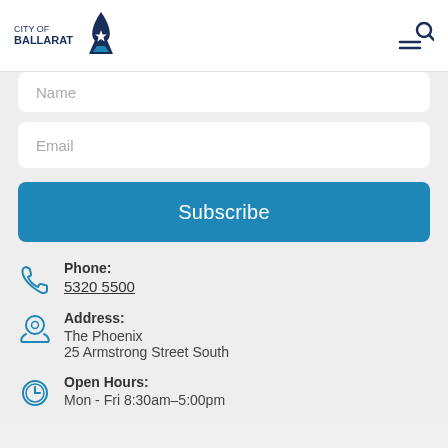City of Ballarat
Name
Email
Subscribe
Phone: 5320 5500
Address: The Phoenix, 25 Armstrong Street South
Open Hours: Mon - Fri 8:30am–5:00pm